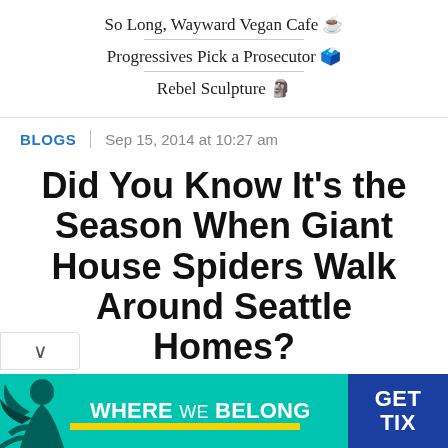So Long, Wayward Vegan Cafe ☕
Progressives Pick a Prosecutor 🗳️
Rebel Sculpture 🗿
BLOGS  |  Sep 15, 2014 at 10:27 am
Did You Know It's the Season When Giant House Spiders Walk Around Seattle Homes?
[Figure (illustration): Advertisement banner: teal background with silhouette figure, text 'WHERE WE BELONG', yellow stripe, and blue box with 'GET TIX']